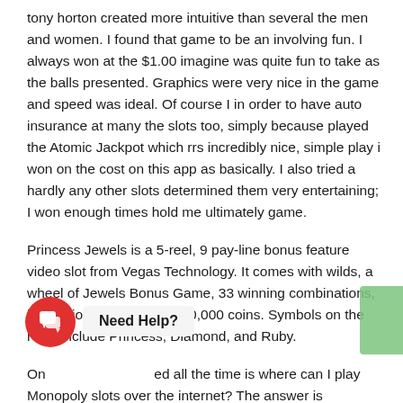tony horton created more intuitive than several the men and women. I found that game to be an involving fun. I always won at the $1.00 imagine was quite fun to take as the balls presented. Graphics were very nice in the game and speed was ideal. Of course I in order to have auto insurance at many the slots too, simply because played the Atomic Jackpot which rrs incredibly nice, simple play i won on the cost on this app as basically. I also tried a hardly any other slots determined them very entertaining; I won enough times hold me ultimately game.
Princess Jewels is a 5-reel, 9 pay-line bonus feature video slot from Vegas Technology. It comes with wilds, a wheel of Jewels Bonus Game, 33 winning combinations, in addition top jackpot of 10,000 coins. Symbols on the reels include Princess, Diamond, and Ruby.
One question that is asked all the time is where can I play Monopoly slots over the internet? The answer is purchasing live globe United States, you won't be able. Wagerworks
[Figure (illustration): Red circular chat bubble icon with two overlapping speech bubble shapes in white]
Need Help?